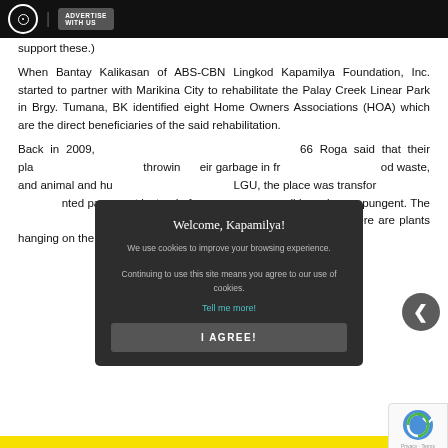ABS-CBN | ADVERTISE WITH US
support these.)
When Bantay Kalikasan of ABS-CBN Lingkod Kapamilya Foundation, Inc. started to partner with Marikina City to rehabilitate the Palay Creek Linear Park in Brgy. Tumana, BK identified eight Home Owners Associations (HOA) which are the direct beneficiaries of the said rehabilitation.
Back in 2009, ... 66 Roga said that their place ... throwing their garbage in fr... od waste, and animal and hu... LGU, the place was transfor... nted pavement instead of wa... ll is no longer pungent. The... munity to keep their place clean and there are plants hanging on the walls.
[Figure (screenshot): Modal dialog with dark background reading 'Welcome, Kapamilya!' with cookie consent text and I AGREE button]
Privacy · Terms